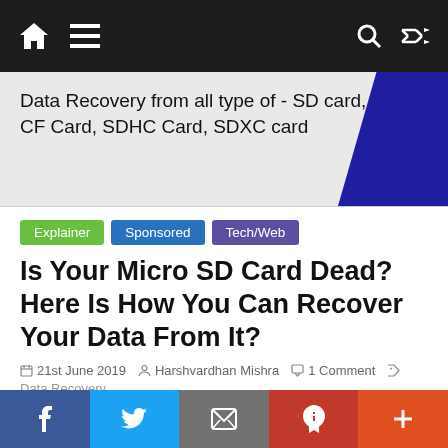Navigation bar with home, menu, search, and shuffle icons
[Figure (photo): Banner image showing text 'Data Recovery from all type of - SD card, CF Card, SDHC Card, SDXC card' with a dark blue angled shape on the right]
Explainer   Sponsored   Tech/Web
Is Your Micro SD Card Dead? Here Is How You Can Recover Your Data From It?
21st June 2019   Harshvardhan Mishra   1 Comment   Data Recovery
Data storage has changed over the last few decades. With storage media devices becoming smaller and more
Share bar: Facebook, Twitter, Email, Pinterest, Plus